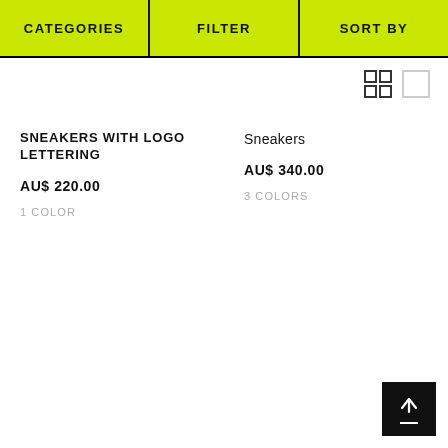CATEGORIES | FILTER | SORT BY
SNEAKERS WITH LOGO LETTERING
AU$ 220.00
1 COLOR
Sneakers
AU$ 340.00
3 COLORS